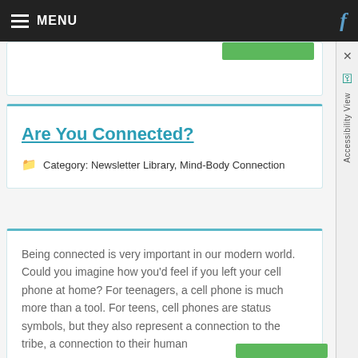MENU
Are You Connected?
Category: Newsletter Library, Mind-Body Connection
Being connected is very important in our modern world. Could you imagine how you'd feel if you left your cell phone at home? For teenagers, a cell phone is much more than a tool. For teens, cell phones are status symbols, but they also represent a connection to the tribe, a connection to their human